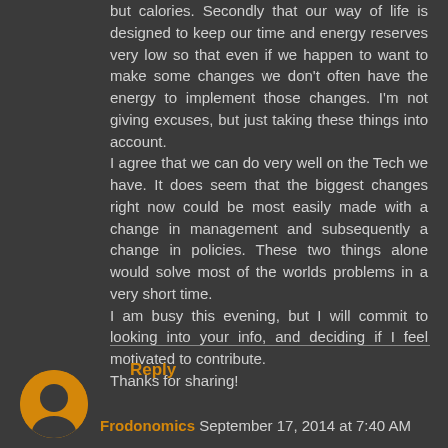but calories. Secondly that our way of life is designed to keep our time and energy reserves very low so that even if we happen to want to make some changes we don't often have the energy to implement those changes. I'm not giving excuses, but just taking these things into account.
I agree that we can do very well on the Tech we have. It does seem that the biggest changes right now could be most easily made with a change in management and subsequently a change in policies. These two things alone would solve most of the worlds problems in a very short time.
I am busy this evening, but I will commit to looking into your info, and deciding if I feel motivated to contribute.
Thanks for sharing!
Reply
Frodonomics  September 17, 2014 at 7:40 AM